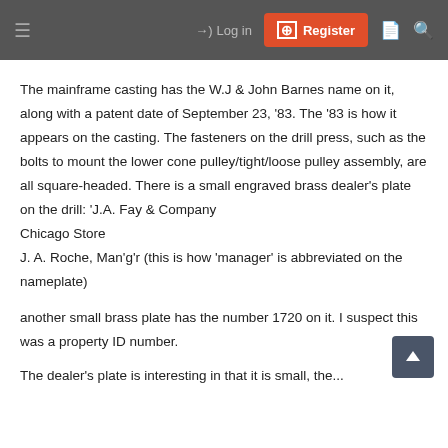≡  →) Log in  [+] Register
The mainframe casting has the W.J & John Barnes name on it, along with a patent date of September 23, '83. The '83 is how it appears on the casting. The fasteners on the drill press, such as the bolts to mount the lower cone pulley/tight/loose pulley assembly, are all square-headed. There is a small engraved brass dealer's plate on the drill: 'J.A. Fay & Company
Chicago Store
J. A. Roche, Man'g'r (this is how 'manager' is abbreviated on the nameplate)
another small brass plate has the number 1720 on it. I suspect this was a property ID number.
The dealer's plate is interesting in that it is small, the...